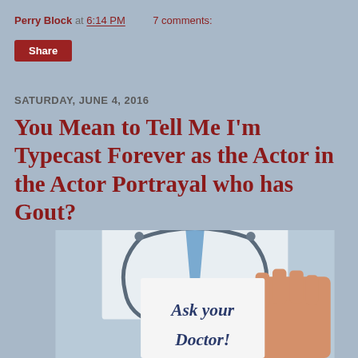Perry Block at 6:14 PM   7 comments:
Share
SATURDAY, JUNE 4, 2016
You Mean to Tell Me I'm Typecast Forever as the Actor in the Actor Portrayal who has Gout?
[Figure (photo): A doctor in a white coat with a stethoscope and blue tie holding a white sign that reads 'Ask your Doctor!']